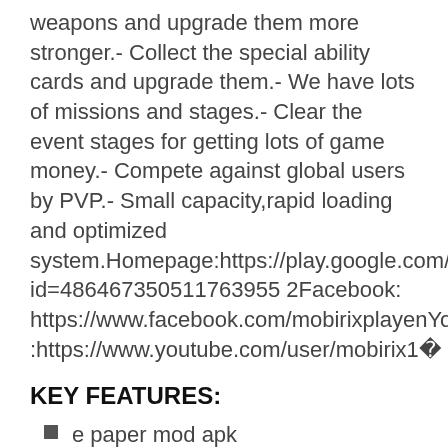weapons and upgrade them more stronger.- Collect the special ability cards and upgrade them.- We have lots of missions and stages.- Clear the event stages for getting lots of game money.- Compete against global users by PVP.- Small capacity,rapid loading and optimized system.Homepage:https://play.google.com/store/appid=486467350511763955 2Facebook:https://www.facebook.com/mobirixplayenYouTube:https://www.youtube.com/user/mobirix1�
KEY FEATURES:
e paper mod apk
�
�
Updated 20.05.2020 at 16:00<p>Pascal's